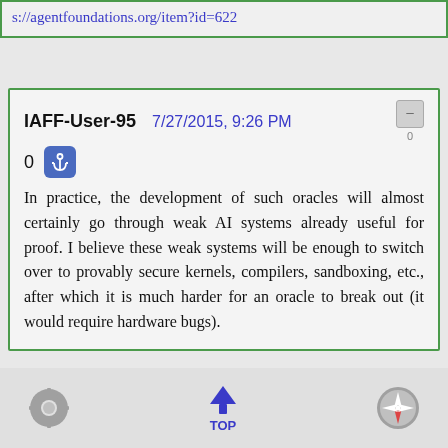s://agentfoundations.org/item?id=622
IAFF-User-95   7/27/2015, 9:26 PM
0
In practice, the development of such oracles will almost certainly go through weak AI systems already useful for proof. I believe these weak systems will be enough to switch over to provably secure kernels, compilers, sandboxing, etc., after which it is much harder for an oracle to break out (it would require hardware bugs).
TOP